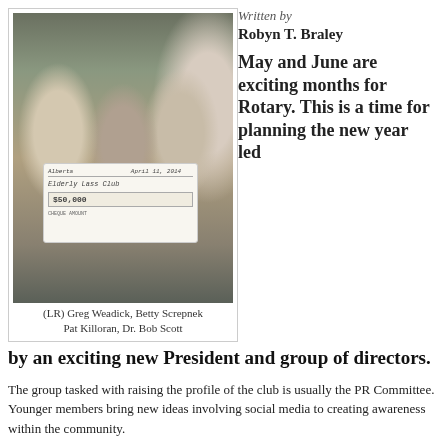[Figure (photo): Four people posing and holding a large ceremonial check. Left to right: Greg Weadick, Betty Screpnek, Pat Killoran, Dr. Bob Scott. The check appears to be from Alberta for $550,000.]
(LR) Greg Weadick, Betty Screpnek
Pat Killoran, Dr. Bob Scott
Written by
Robyn T. Braley
May and June are exciting months for Rotary. This is a time for planning the new year led by an exciting new President and group of directors.
The group tasked with raising the profile of the club is usually the PR Committee. Younger members bring new ideas involving social media to creating awareness within the community.
In April, 2014, we used traditional and digital media to let the